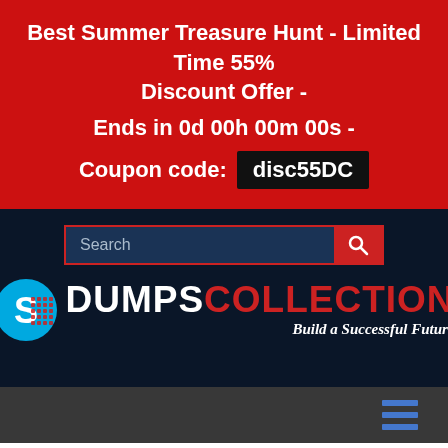Best Summer Treasure Hunt - Limited Time 55% Discount Offer - Ends in 0d 00h 00m 00s - Coupon code: disc55DC
[Figure (screenshot): Search bar with red search button on dark navy background]
[Figure (logo): DumpsCollection logo with Skype-like icon and tagline 'Build a Successful Future']
[Figure (other): Dark gray menu bar with hamburger icon (three teal horizontal bars)]
Home / Symantec / Symantec Certification / 250-551